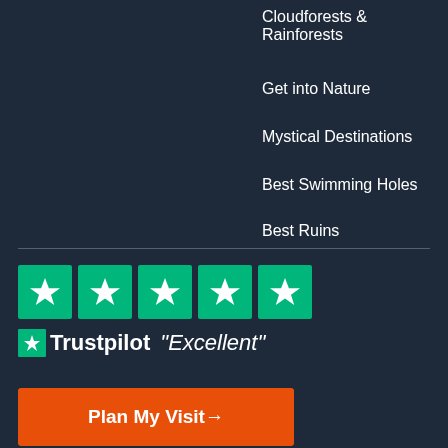Cloudforests & Rainforests
Get into Nature
Mystical Destinations
Best Swimming Holes
Best Ruins
[Figure (logo): Trustpilot five green star rating boxes with white stars, followed by Trustpilot star logo and text 'Trustpilot "Excellent"']
Plan My Visit→